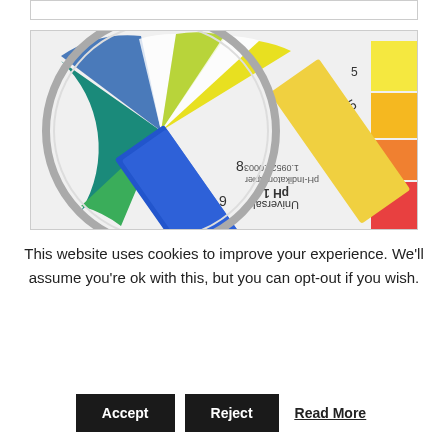[Figure (photo): Close-up photo of a pH indicator paper/strip being compared against a circular pH color chart wheel. The strip shows a blue color. The wheel displays colors from red/pink at low pH to green/teal at neutral to yellow/orange at high pH. Text on the chart reads 'pH 1', 'Universal', 'pH-Indikatorpapier', '9 10', '8', '7', '6', '5', '3', '2', '1' and a catalog number '1.09526.0003'.]
This website uses cookies to improve your experience. We'll assume you're ok with this, but you can opt-out if you wish.
Accept  Reject  Read More